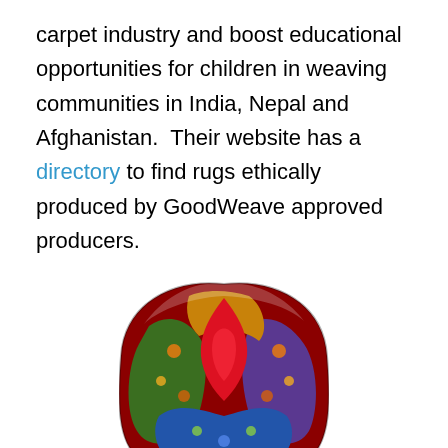carpet industry and boost educational opportunities for children in weaving communities in India, Nepal and Afghanistan.  Their website has a directory to find rugs ethically produced by GoodWeave approved producers.
[Figure (photo): A colorful decorative cushion with vibrant multicolored floral/abstract pattern in red, green, blue, purple and gold — the Omni Splatt cushion by Timorous Beasties.]
Then onto textile companies, and the riot of colour of at Timorous Beasties (seen here on their Omni Splatt cushion, £144), was in glorious contrast to the cool, clean botanical prints at Ivo Prints.  Ivo Prints have been producing textiles and wall coverings under license to The Royal Botanic Gardens Kew at their small factory in west